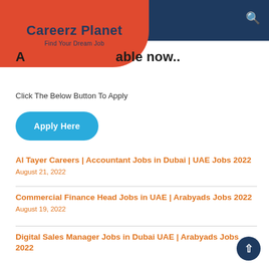Careerz Planet — Find Your Dream Job
A[pply] [avail]able now..
Click The Below Button To Apply
Apply Here
Al Tayer Careers | Accountant Jobs in Dubai | UAE Jobs 2022
August 21, 2022
Commercial Finance Head Jobs in UAE | Arabyads Jobs 2022
August 19, 2022
Digital Sales Manager Jobs in Dubai UAE | Arabyads Jobs 2022